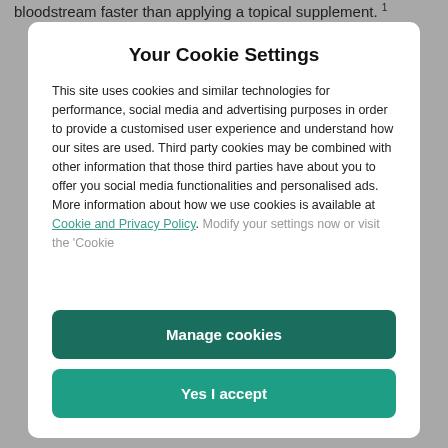bloodstream faster than applying a topical supplement.
Your Cookie Settings
This site uses cookies and similar technologies for performance, social media and advertising purposes in order to provide a customised user experience and understand how our sites are used. Third party cookies may be combined with other information that those third parties have about you to offer you social media functionalities and personalised ads. More information about how we use cookies is available at Cookie and Privacy Policy. Modify your settings now or visit the 'Cookie
Manage cookies
Yes I accept